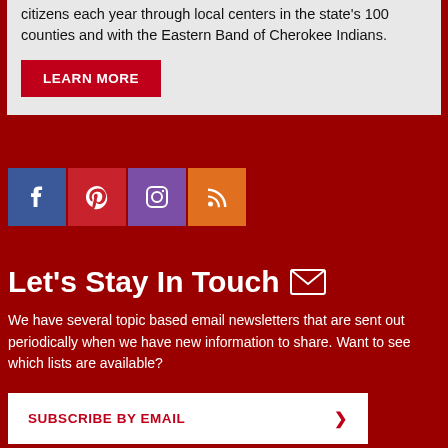citizens each year through local centers in the state's 100 counties and with the Eastern Band of Cherokee Indians.
LEARN MORE
[Figure (other): Social media icons row: Facebook (blue), Pinterest (red), Instagram (purple), RSS (orange)]
Let's Stay In Touch
We have several topic based email newsletters that are sent out periodically when we have new information to share. Want to see which lists are available?
SUBSCRIBE BY EMAIL